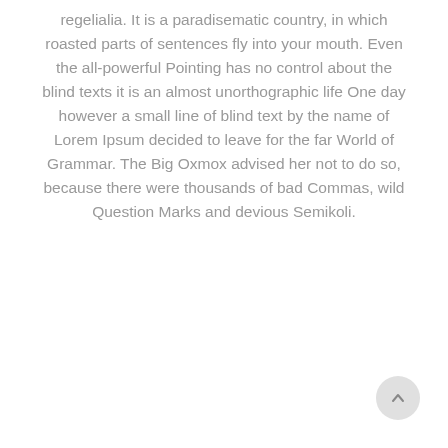regelialia. It is a paradisematic country, in which roasted parts of sentences fly into your mouth. Even the all-powerful Pointing has no control about the blind texts it is an almost unorthographic life One day however a small line of blind text by the name of Lorem Ipsum decided to leave for the far World of Grammar. The Big Oxmox advised her not to do so, because there were thousands of bad Commas, wild Question Marks and devious Semikoli.